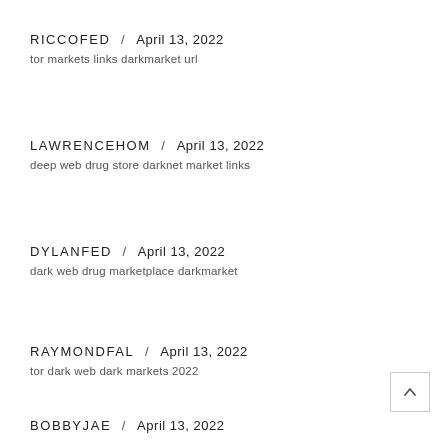RICCOFED / April 13, 2022
tor markets links darkmarket url
LAWRENCEHOM / April 13, 2022
deep web drug store darknet market links
DYLANFED / April 13, 2022
dark web drug marketplace darkmarket
RAYMONDFAL / April 13, 2022
tor dark web dark markets 2022
BOBBYJAE / April 13, 2022